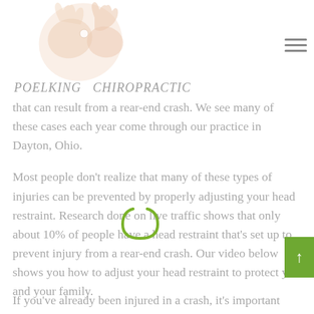[Figure (logo): Poelking Chiropractic logo with stylized hands graphic and italic text]
that can result from a rear-end crash. We see many of these cases each year come through our practice in Dayton, Ohio.
Most people don't realize that many of these types of injuries can be prevented by properly adjusting your head restraint. Research done on live traffic shows that only about 10% of people have a head restraint that's set up to prevent injury from a rear-end crash. Our video below shows you how to adjust your head restraint to protect you and your family.
If you've already been injured in a crash, it's important